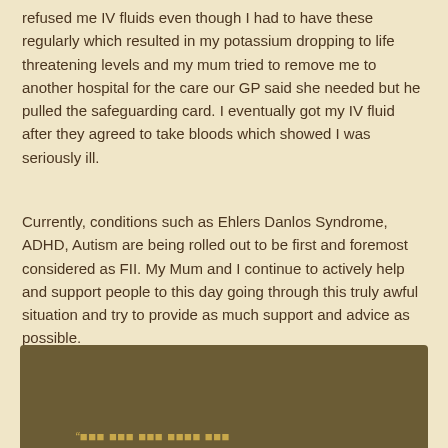refused me IV fluids even though I had to have these regularly which resulted in my potassium dropping to life threatening levels and my mum tried to remove me to another hospital for the care our GP said she needed but he pulled the safeguarding card. I eventually got my IV fluid after they agreed to take bloods which showed I was seriously ill.
Currently, conditions such as Ehlers Danlos Syndrome, ADHD, Autism are being rolled out to be first and foremost considered as FII. My Mum and I continue to actively help and support people to this day going through this truly awful situation and try to provide as much support and advice as possible.
[Figure (other): Dark brown/olive colored box at the bottom of the page with partial quote text in gold/amber color visible at the bottom edge]